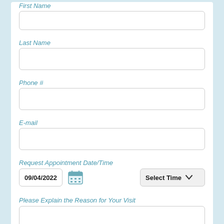First Name
[Figure (other): Empty text input field for First Name]
Last Name
[Figure (other): Empty text input field for Last Name]
Phone #
[Figure (other): Empty text input field for Phone #]
E-mail
[Figure (other): Empty text input field for E-mail]
Request Appointment Date/Time
[Figure (other): Date input showing 09/04/2022, calendar icon, and Select Time dropdown]
Please Explain the Reason for Your Visit
[Figure (other): Empty textarea for reason for visit]